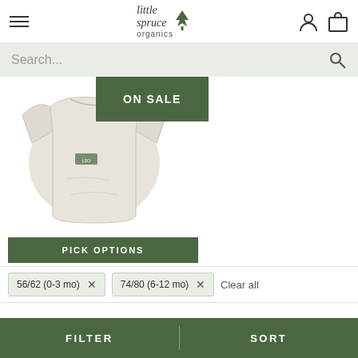[Figure (logo): Little Spruce Organics logo with tree icon]
[Figure (screenshot): Search bar with search icon on light green background]
[Figure (photo): White baby/infant short-sleeve shirt photographed from back, displayed as product image with ON SALE green badge overlay]
ON SALE
PICK OPTIONS
56/62 (0-3 mo)  ×
74/80 (6-12 mo)  ×
Clear all
FILTER
SORT